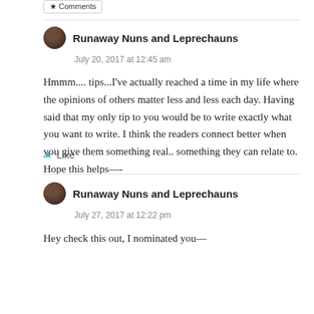Runaway Nuns and Leprechauns
July 20, 2017 at 12:45 am
Hmmm.... tips...I've actually reached a time in my life where the opinions of others matter less and less each day. Having said that my only tip to you would be to write exactly what you want to write. I think the readers connect better when you give them something real.. something they can relate to. Hope this helps—-
Like
Runaway Nuns and Leprechauns
July 27, 2017 at 12:22 pm
Hey check this out, I nominated you—